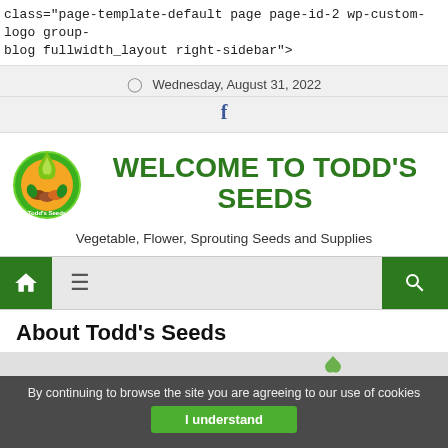class="page-template-default page page-id-2 wp-custom-logo group-blog fullwidth_layout right-sidebar">
Wednesday, August 31, 2022
[Figure (logo): Todd's Seeds circular logo with green flame and seeds]
WELCOME TO TODD'S SEEDS
Vegetable, Flower, Sprouting Seeds and Supplies
About Todd's Seeds
By continuing to browse the site you are agreeing to our use of cookies